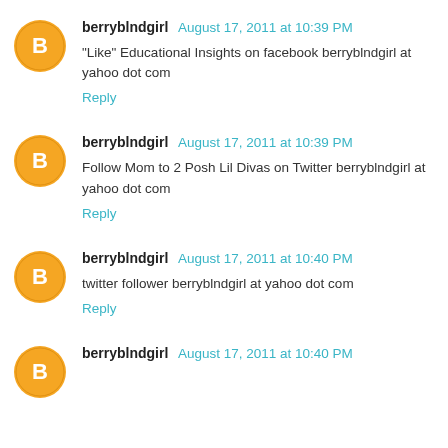berryblndgirl August 17, 2011 at 10:39 PM
"Like" Educational Insights on facebook berryblndgirl at yahoo dot com
Reply
berryblndgirl August 17, 2011 at 10:39 PM
Follow Mom to 2 Posh Lil Divas on Twitter berryblndgirl at yahoo dot com
Reply
berryblndgirl August 17, 2011 at 10:40 PM
twitter follower berryblndgirl at yahoo dot com
Reply
berryblndgirl August 17, 2011 at 10:40 PM